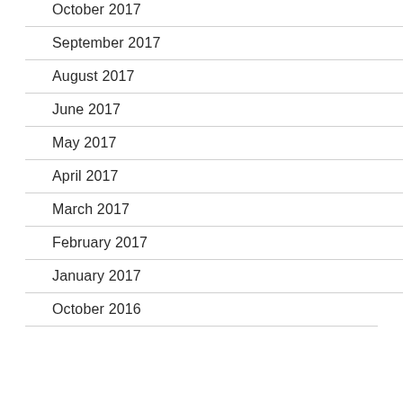October 2017
September 2017
August 2017
June 2017
May 2017
April 2017
March 2017
February 2017
January 2017
October 2016